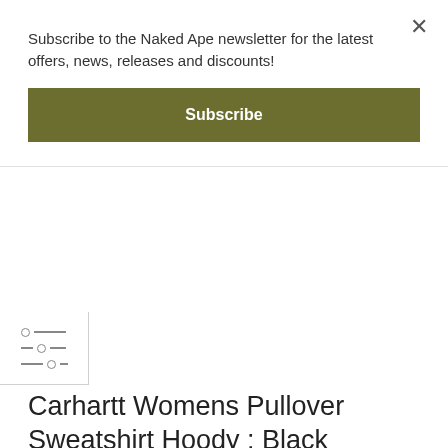Subscribe to the Naked Ape newsletter for the latest offers, news, releases and discounts!
Subscribe
[Figure (infographic): Filter/settings icon with three horizontal lines and circular sliders]
Carhartt Womens Pullover Sweatshirt Hoody : Black
£60.00
£49.95
The Carhartt Womens Clarksburg Pullover Sweatshirt is a regular fitting classic hoody pullover style with a kangaroo